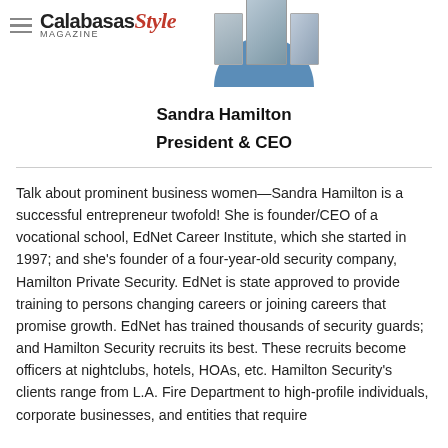Calabasas Style Magazine
[Figure (illustration): Calabasas Style Magazine logo with hamburger menu icon and stacked magazine cover images on a blue semi-circle background]
Sandra Hamilton
President & CEO
Talk about prominent business women—Sandra Hamilton is a successful entrepreneur twofold! She is founder/CEO of a vocational school, EdNet Career Institute, which she started in 1997; and she's founder of a four-year-old security company, Hamilton Private Security. EdNet is state approved to provide training to persons changing careers or joining careers that promise growth. EdNet has trained thousands of security guards; and Hamilton Security recruits its best. These recruits become officers at nightclubs, hotels, HOAs, etc. Hamilton Security's clients range from L.A. Fire Department to high-profile individuals, corporate businesses, and entities that require security of all forms.